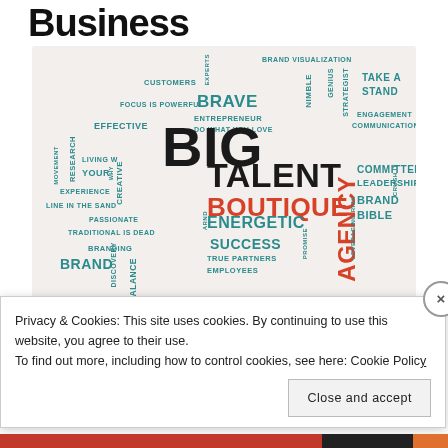Business
[Figure (infographic): Word cloud containing business branding terms such as BIG, TALENT, BOUTIQUE, AGENCY, BRAVE, BRAND BIBLE, SUCCESS, ENERGETIC, CREATIVE, BRAND VISUALIZATION, TAKE A STAND, LEADERSHIP, COMMITTED, ENGAGEMENT COMMUNICATION, RESEARCH, EXPERIENCE, BRANDING, BRAND, BALANCE, DISCOVERY, PASSIONATE, TRADITIONAL IS DEAD, FOCUS IS POWERFUL, CUSTOMERS, EFFECTIVE, LIVING WHY YOUR, LINE IN THE SAND, ENERGETIC, SUCCESS, TRUE PARTNERS, EMPLOYEES, PROMISE, LEVERAGING RISK, CRUSH IT, STRATEGIST, GENIUS, NIMBLE, ENTREPRENEUR, DO WHAT YOU LOVE, EXPERTS in teal and red colors on a beige background]
Privacy & Cookies: This site uses cookies. By continuing to use this website, you agree to their use.
To find out more, including how to control cookies, see here: Cookie Policy
Close and accept